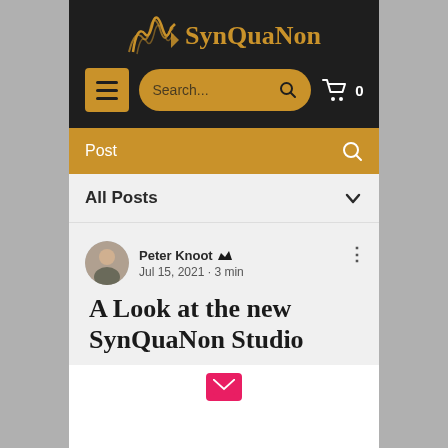[Figure (screenshot): SynQuaNon website screenshot showing dark header with logo, search bar, navigation, post category bar, All Posts filter, and a blog post card with author Peter Knoot, date Jul 15 2021, 3 min read, and title 'A Look at the new SynQuaNon Studio']